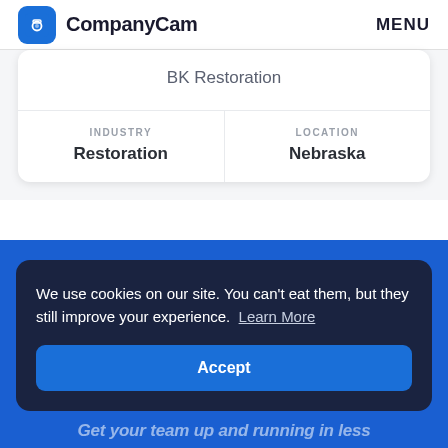CompanyCam  MENU
BK Restoration
| INDUSTRY | LOCATION |
| --- | --- |
| Restoration | Nebraska |
We use cookies on our site. You can't eat them, but they still improve your experience. Learn More
Accept
Get your team up and running in less